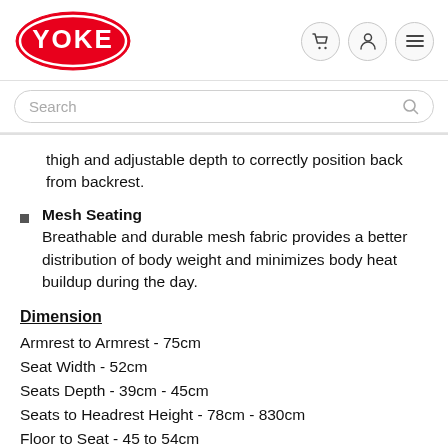YOKE [logo] [cart icon] [user icon] [menu icon]
Search
thigh and adjustable depth to correctly position back from backrest.
Mesh Seating
Breathable and durable mesh fabric provides a better distribution of body weight and minimizes body heat buildup during the day.
Dimension
Armrest to Armrest - 75cm
Seat Width - 52cm
Seats Depth - 39cm - 45cm
Seats to Headrest Height - 78cm - 830cm
Floor to Seat - 45 to 54cm